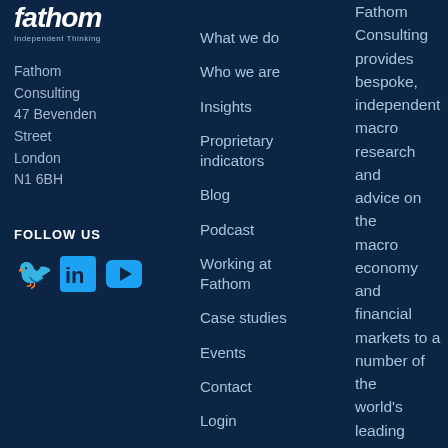[Figure (logo): Fathom logo with 'fathom' in bold italic white and 'Independent Thinking' tagline]
Fathom Consulting
47 Bevenden Street
London
N1 6BH
FOLLOW US
[Figure (illustration): Social media icons: Twitter bird, LinkedIn 'in', YouTube play button in blue]
What we do
Who we are
Insights
Proprietary indicators
Blog
Podcast
Working at Fathom
Case studies
Events
Contact
Login
Fathom Consulting provides bespoke, independent macro research and advice on the macro economy and financial markets to a number of the world's leading corporate and financial institutions, governments and policy